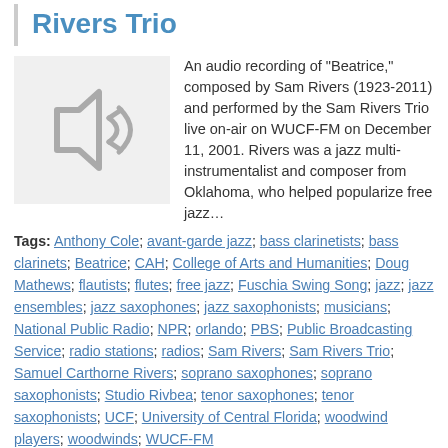Rivers Trio
[Figure (illustration): Audio/speaker icon placeholder on grey background]
An audio recording of "Beatrice," composed by Sam Rivers (1923-2011) and performed by the Sam Rivers Trio live on-air on WUCF-FM on December 11, 2001. Rivers was a jazz multi-instrumentalist and composer from Oklahoma, who helped popularize free jazz…
Tags: Anthony Cole; avant-garde jazz; bass clarinetists; bass clarinets; Beatrice; CAH; College of Arts and Humanities; Doug Mathews; flautists; flutes; free jazz; Fuschia Swing Song; jazz; jazz ensembles; jazz saxophones; jazz saxophonists; musicians; National Public Radio; NPR; orlando; PBS; Public Broadcasting Service; radio stations; radios; Sam Rivers; Sam Rivers Trio; Samuel Carthorne Rivers; soprano saxophones; soprano saxophonists; Studio Rivbea; tenor saxophones; tenor saxophonists; UCF; University of Central Florida; woodwind players; woodwinds; WUCF-FM